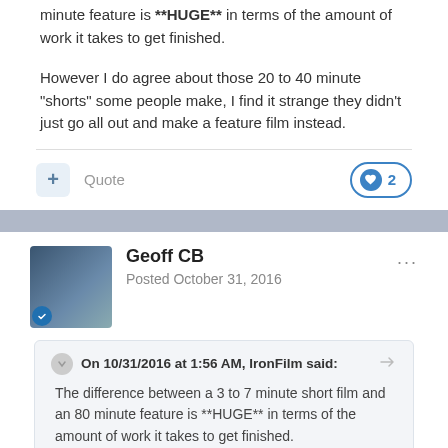minute feature is **HUGE** in terms of the amount of work it takes to get finished.
However I do agree about those 20 to 40 minute "shorts" some people make, I find it strange they didn't just go all out and make a feature film instead.
Geoff CB
Posted October 31, 2016
On 10/31/2016 at 1:56 AM, IronFilm said:
The difference between a 3 to 7 minute short film and an 80 minute feature is **HUGE** in terms of the amount of work it takes to get finished.